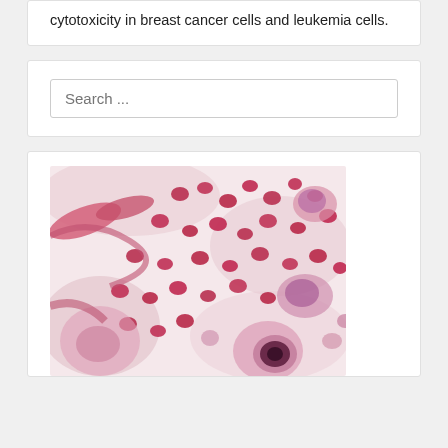cytotoxicity in breast cancer cells and leukemia cells.
[Figure (other): Search input box with placeholder text 'Search ...']
[Figure (photo): Microscopy image showing blood cells and leukemia cells stained in pink/magenta hues, with red blood cells and larger cells including one prominently visible cell with a dark nucleus at the bottom right.]